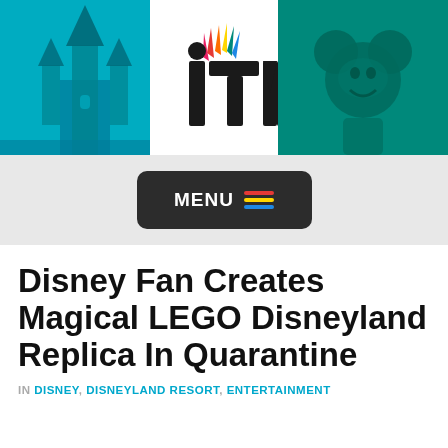[Figure (logo): Inside The Magic (ITM) website header banner with colorful character images on left and right sides (castle, Mario, Mickey Mouse) and the ITM logo centered with INSIDETHEMAGIC.COM text]
[Figure (other): Dark rounded rectangle MENU button with hamburger icon lines in red, yellow, and blue on grey background]
Disney Fan Creates Magical LEGO Disneyland Replica In Quarantine
IN DISNEY, DISNEYLAND RESORT, ENTERTAINMENT